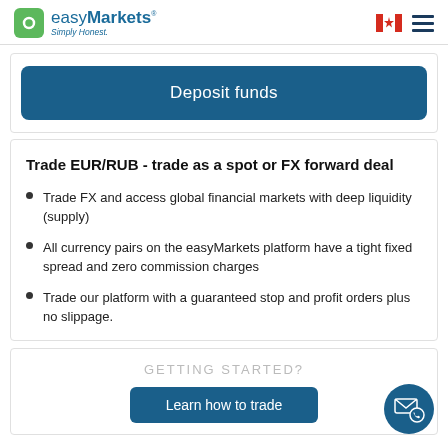easyMarkets Simply Honest.
Deposit funds
Trade EUR/RUB - trade as a spot or FX forward deal
Trade FX and access global financial markets with deep liquidity (supply)
All currency pairs on the easyMarkets platform have a tight fixed spread and zero commission charges
Trade our platform with a guaranteed stop and profit orders plus no slippage.
GETTING STARTED?
Learn how to trade